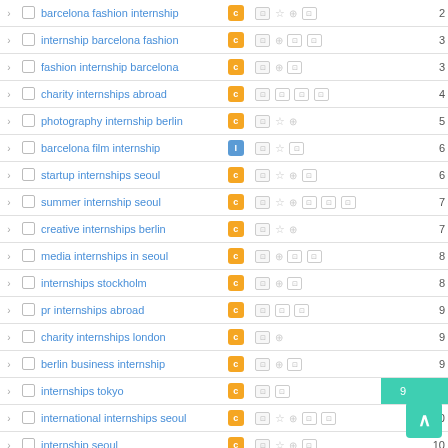|  |  | Keyword | Type | Icons | Number |
| --- | --- | --- | --- | --- | --- |
| > | ☐ | barcelona fashion internship | C |  | 2 |
| > | ☐ | internship barcelona fashion | C |  | 3 |
| > | ☐ | fashion internship barcelona | C |  | 3 |
| > | ☐ | charity internships abroad | C |  | 4 |
| > | ☐ | photography internship berlin | C |  | 5 |
| > | ☐ | barcelona film internship | I |  | 6 |
| > | ☐ | startup internships seoul | C |  | 6 |
| > | ☐ | summer internship seoul | C |  | 7 |
| > | ☐ | creative internships berlin | C |  | 7 |
| > | ☐ | media internships in seoul | C |  | 8 |
| > | ☐ | internships stockholm | C |  | 8 |
| > | ☐ | pr internships abroad | C |  | 9 |
| > | ☐ | charity internships london | C |  | 9 |
| > | ☐ | berlin business internship | C |  | 9 |
| > | ☐ | internships tokyo | C |  | 9 |
| > | ☐ | international internships seoul | C |  | 10 |
| > | ☐ | internship seoul | C |  | 10 |